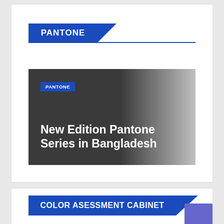[Figure (logo): PANTONE logo banner with blue rectangle and diagonal cut, followed by a blue horizontal rule]
[Figure (illustration): Article thumbnail with gradient background (dark gray to light gray), PANTONE tag label in blue, and white bold title text: New Edition Pantone Series in Bangladesh]
[Figure (logo): COLOR ASESSMENT CABINET logo banner with blue rectangle and diagonal cut, plus a purple/lavender square element at right]